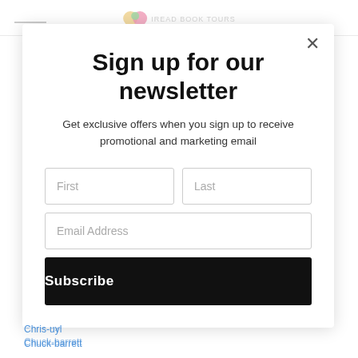[Figure (screenshot): Website page behind newsletter modal popup showing logo and navigation, with partial link list visible at bottom]
Sign up for our newsletter
Get exclusive offers when you sign up to receive promotional and marketing email
First
Last
Email Address
Subscribe
Chris-uyl
Chuck-barrett